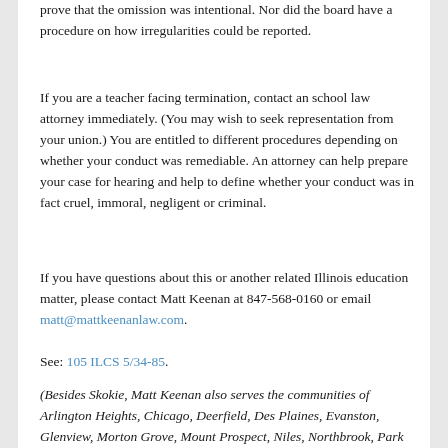prove that the omission was intentional. Nor did the board have a procedure on how irregularities could be reported.
If you are a teacher facing termination, contact an school law attorney immediately. (You may wish to seek representation from your union.) You are entitled to different procedures depending on whether your conduct was remediable. An attorney can help prepare your case for hearing and help to define whether your conduct was in fact cruel, immoral, negligent or criminal.
If you have questions about this or another related Illinois education matter, please contact Matt Keenan at 847-568-0160 or email matt@mattkeenanlaw.com.
See: 105 ILCS 5/34-85.
(Besides Skokie, Matt Keenan also serves the communities of Arlington Heights, Chicago, Deerfield, Des Plaines, Evanston, Glenview, Morton Grove, Mount Prospect, Niles, Northbrook, Park Ridge, Rolling Meadows, Wilmette and Winnetka.)